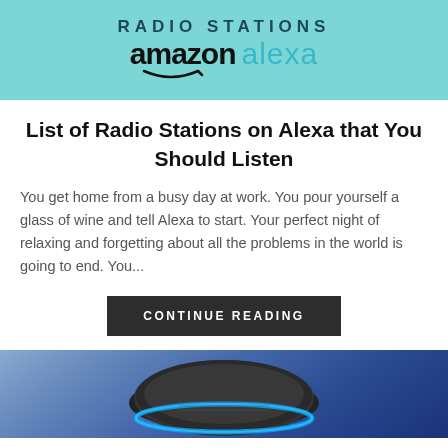[Figure (illustration): Banner with teal/turquoise background showing 'RADIO STATIONS' text above 'amazon alexa' logo with Amazon smile]
List of Radio Stations on Alexa that You Should Listen
You get home from a busy day at work. You pour yourself a glass of wine and tell Alexa to start. Your perfect night of relaxing and forgetting about all the problems in the world is going to end. You...
CONTINUE READING
[Figure (photo): Photo of an Amazon Echo Dot smart speaker with blue ring light on a blue/purple background, partially cropped at bottom of page]